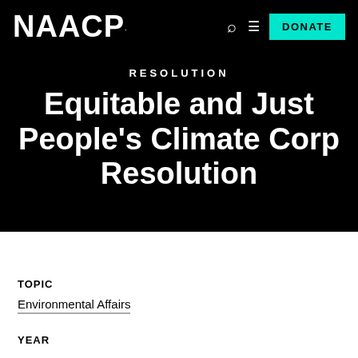NAACP
RESOLUTION
Equitable and Just People's Climate Corp Resolution
TOPIC
Environmental Affairs
YEAR